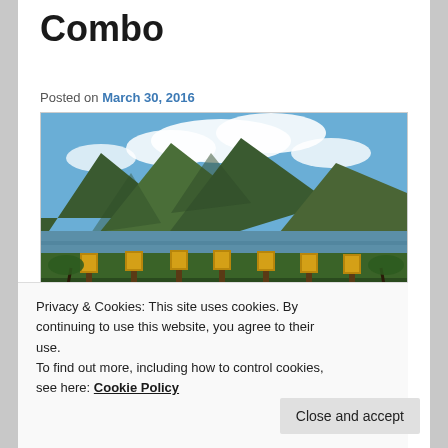Combo
Posted on March 30, 2016
[Figure (photo): Scenic Hawaiian landscape with green mountains, bay/ocean water, and tiki torches in the foreground under a partly cloudy blue sky]
Privacy & Cookies: This site uses cookies. By continuing to use this website, you agree to their use.
To find out more, including how to control cookies, see here: Cookie Policy
Close and accept